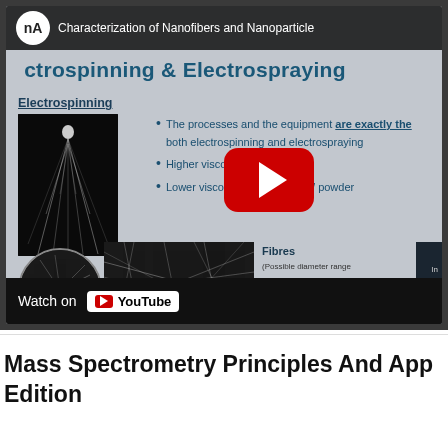[Figure (screenshot): YouTube video thumbnail screenshot showing a slide about Electrospinning & Electrospraying with nA channel logo, bullet points about processes, YouTube play button overlay, fiber photos, and Watch on YouTube bar at the bottom.]
Mass Spectrometry Principles And App... Edition